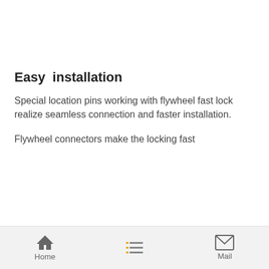Easy  installation
Special location pins working with flywheel fast lock realize seamless connection and faster installation.
Flywheel connectors make the locking fast
Home | [list icon] | Mail